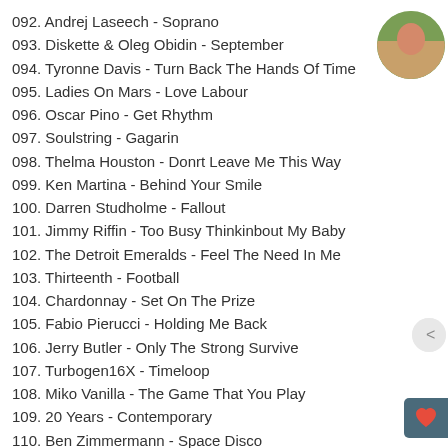092. Andrej Laseech - Soprano
093. Diskette & Oleg Obidin - September
094. Tyronne Davis - Turn Back The Hands Of Time
095. Ladies On Mars - Love Labour
096. Oscar Pino - Get Rhythm
097. Soulstring - Gagarin
098. Thelma Houston - Donrt Leave Me This Way
099. Ken Martina - Behind Your Smile
100. Darren Studholme - Fallout
101. Jimmy Riffin - Too Busy Thinkinbout My Baby
102. The Detroit Emeralds - Feel The Need In Me
103. Thirteenth - Football
104. Chardonnay - Set On The Prize
105. Fabio Pierucci - Holding Me Back
106. Jerry Butler - Only The Strong Survive
107. Turbogen16X - Timeloop
108. Miko Vanilla - The Game That You Play
109. 20 Years - Contemporary
110. Ben Zimmermann - Space Disco